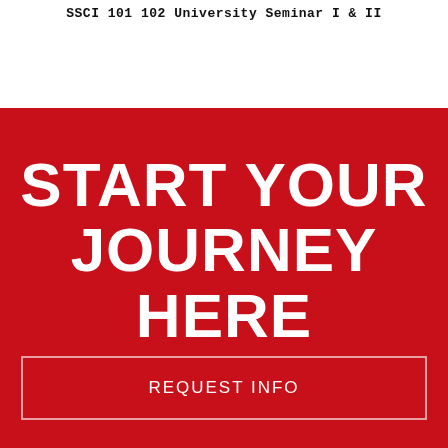SSCI 101 102 University Seminar I & II
START YOUR JOURNEY HERE
REQUEST INFO